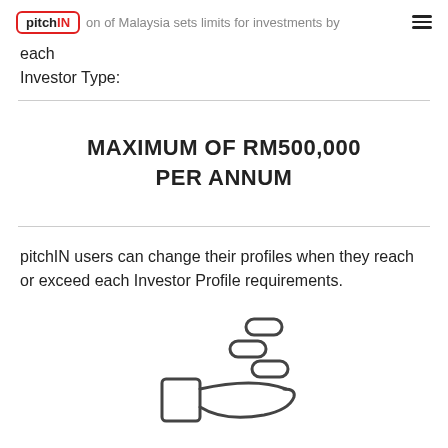pitchIN on of Malaysia sets limits for investments by each Investor Type:
MAXIMUM OF RM500,000 PER ANNUM
pitchIN users can change their profiles when they reach or exceed each Investor Profile requirements.
[Figure (illustration): Hand holding coins icon — an outline illustration of a hand receiving or holding coins/money symbols above it]